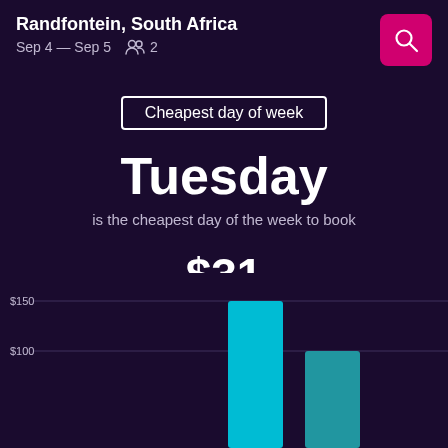Randfontein, South Africa
Sep 4 — Sep 5   2
Cheapest day of week
Tuesday
is the cheapest day of the week to book
$31
is the average per night cost for a hotel on this day
[Figure (bar-chart): Partial bar chart visible showing bars for at least Wednesday (~$120) and Thursday (~$80), with $150 and $100 gridlines shown]